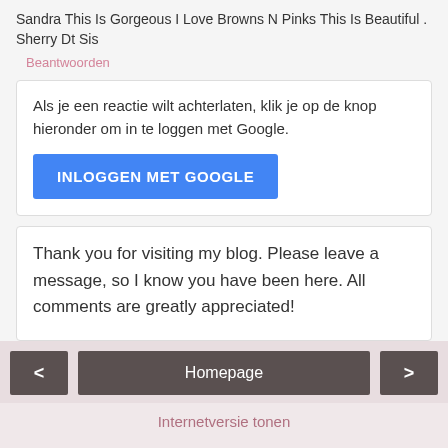Sandra This Is Gorgeous I Love Browns N Pinks This Is Beautiful . Sherry Dt Sis
Beantwoorden
Als je een reactie wilt achterlaten, klik je op de knop hieronder om in te loggen met Google.
INLOGGEN MET GOOGLE
Thank you for visiting my blog. Please leave a message, so I know you have been here. All comments are greatly appreciated!
< Homepage >
Internetversie tonen
Who am I?
Crea-Sandra
[Figure (photo): Profile photo of person, partially visible at bottom of page]